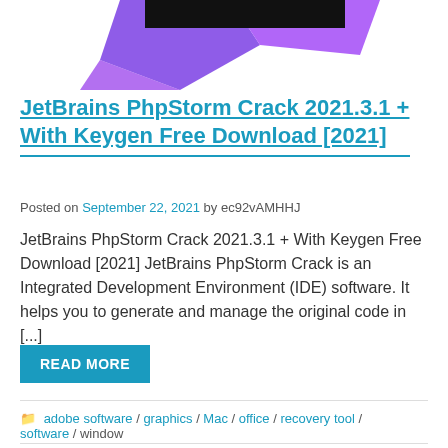[Figure (logo): JetBrains PhpStorm logo with purple polygon shapes and a black rectangular banner area at the top of the page]
JetBrains PhpStorm Crack 2021.3.1 + With Keygen Free Download [2021]
Posted on September 22, 2021 by ec92vAMHHJ
JetBrains PhpStorm Crack 2021.3.1 + With Keygen Free Download [2021] JetBrains PhpStorm Crack is an Integrated Development Environment (IDE) software. It helps you to generate and manage the original code in [...]
READ MORE
adobe software / graphics / Mac / office / recovery tool / software / window